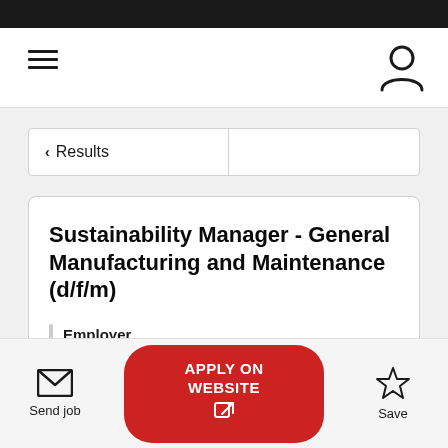< Results
Sustainability Manager - General Manufacturing and Maintenance (d/f/m)
Employer
Send job | APPLY ON WEBSITE | Save